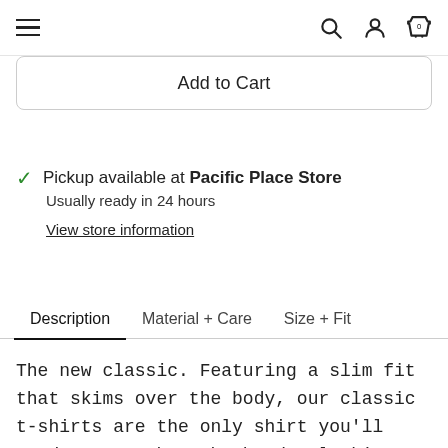Navigation bar with hamburger menu, search, account, and cart icons
Add to Cart
Pickup available at Pacific Place Store
Usually ready in 24 hours
View store information
Description | Material + Care | Size + Fit
The new classic. Featuring a slim fit that skims over the body, our classic t-shirts are the only shirt you'll need to get through the day looking and feeling great. Built with only the highest-